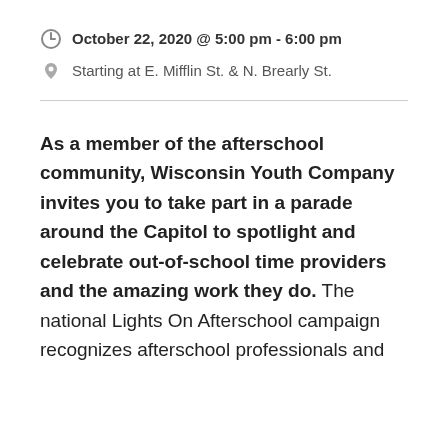October 22, 2020 @ 5:00 pm - 6:00 pm
Starting at E. Mifflin St. & N. Brearly St.
As a member of the afterschool community, Wisconsin Youth Company invites you to take part in a parade around the Capitol to spotlight and celebrate out-of-school time providers and the amazing work they do. The national Lights On Afterschool campaign recognizes afterschool professionals and